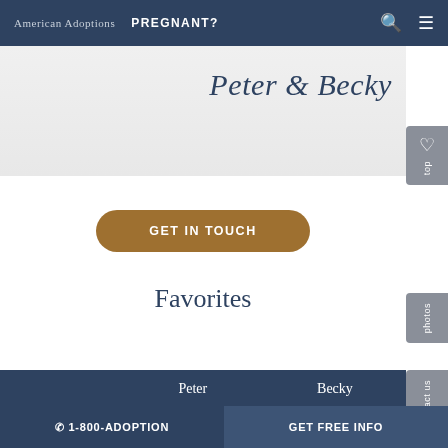American Adoptions  PREGNANT?
[Figure (screenshot): Cursive script text reading 'Peter & Becky' in dark navy on a light gray background]
GET IN TOUCH
Favorites
|  | Peter | Becky |
| --- | --- | --- |
| Actor | Jeff Goldblum | Benedict Cumberbatch |
☎ 1-800-ADOPTION    GET FREE INFO